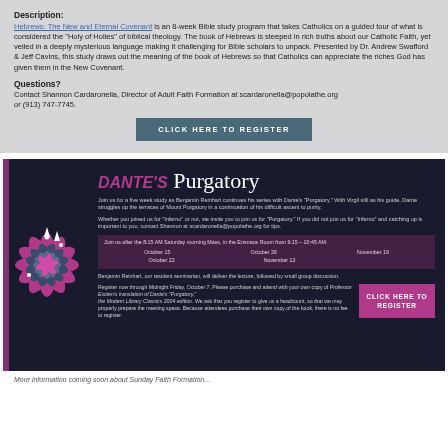Description:
Hebrews: The New and Eternal Covenant is an 8-week Bible study program that takes Catholics on a guided tour of what is considered the "Holy of Holies" of biblical theology. The book of Hebrews is steeped in rich truths about our Catholic Faith, yet veiled in a deeply mysterious language making it challenging for Bible scholars to unpack. Presented by Dr. Andrew Swafford & Jeff Cavins, this study draws out the meaning of the book of Hebrews so that Catholics can appreciate the riches God has given them in the New Covenant.
Questions?
Contact Shannon Cardaronella, Director of Adult Faith Formation at scardaronella@popolathe.org or (913) 747-7745.
CLICK HERE TO REGISTER
DANTE'S Purgatory
Join us for a five week study as Benjamin Reinhart continues his series with Dante's 'Purgatory.' With Virgil still as his guide, Dante struggles up the terraces of Mount Purgatory in a continuation of his difficult ascent to purity.
Whether you joined us for 'Inferno' or not, we invite you to join us for 'Purgatory.' If you did not join us for 'Inferno' and catching up is important to you, contact Shannon at scardaronella@popolathe.org for tips.
Join us after the 8:15 AM Saturday morning Mass, in the Emmaus Room from 9:15 - 10:45 AM:
October 15    October 29    November 19
October 22    November 12
Benjamin Reinhart, our resident seminarian, will deliver the lecture, followed by small group discussion.
Register now through Midnight Friday, October 7. Please purchase and attend with your own copy of Professor Esolen's translation of Dante's 'Purgatory,' the Modern Library Classics 2004 edition. We ask that you register to give us a headcount, so that we may properly prepare the meeting space. Because attendees purchase their own copy of the book, there is no fee to register.
CLICK HERE TO REGISTER